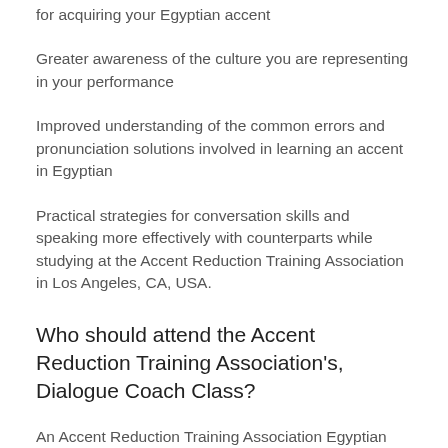for acquiring your Egyptian accent
Greater awareness of the culture you are representing in your performance
Improved understanding of the common errors and pronunciation solutions involved in learning an accent in Egyptian
Practical strategies for conversation skills and speaking more effectively with counterparts while studying at the Accent Reduction Training Association in Los Angeles, CA, USA.
Who should attend the Accent Reduction Training Association's, Dialogue Coach Class?
An Accent Reduction Training Association Egyptian